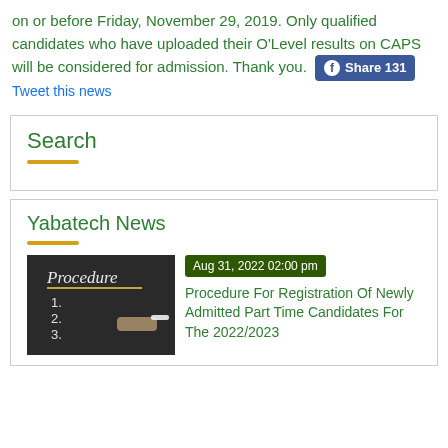on or before Friday, November 29, 2019. Only qualified candidates who have uploaded their O'Level results on CAPS will be considered for admission. Thank you. [Share 131] Tweet this news
Search
Yabatech News
[Figure (photo): Chalkboard showing the word 'Procedure' with numbered list and a hand holding chalk]
Aug 31, 2022 02:00 pm
Procedure For Registration Of Newly Admitted Part Time Candidates For The 2022/2023